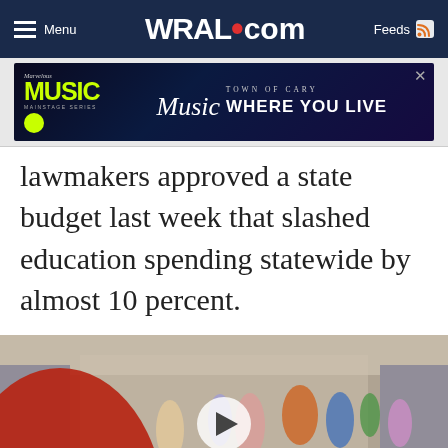Menu | WRAL.com | Feeds
[Figure (other): Advertisement banner for Town of Cary 'Marvelous Music Mainstage Series' — Music Where You Live]
lawmakers approved a state budget last week that slashed education spending statewide by almost 10 percent.
[Figure (photo): Video thumbnail showing school hallway with children and adults walking, with a play button overlay in the center]
Budget cuts hit Wake school's class sizes